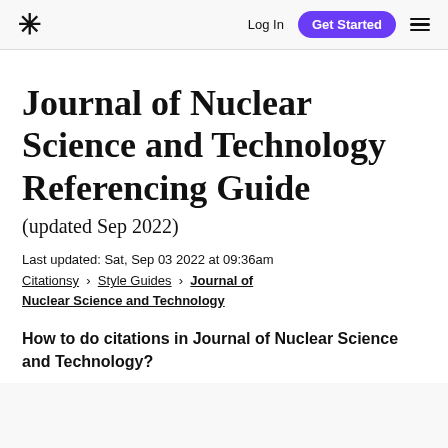* Log In  Get Started  ≡
Journal of Nuclear Science and Technology Referencing Guide
(updated Sep 2022)
Last updated: Sat, Sep 03 2022 at 09:36am
Citationsy › Style Guides › Journal of Nuclear Science and Technology
How to do citations in Journal of Nuclear Science and Technology?